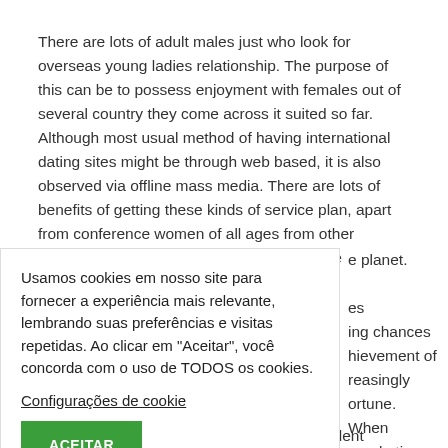There are lots of adult males just who look for overseas young ladies relationship. The purpose of this can be to possess enjoyment with females out of several country they come across it suited so far. Although most usual method of having international dating sites might be through web based, it is also observed via offline mass media. There are lots of benefits of getting these kinds of service plan, apart from conference women of all ages from other countries, additionally, it is simple to pick the
e planet.
Usamos cookies em nosso site para fornecer a experiência mais relevante, lembrando suas preferências e visitas repetidas. Ao clicar em "Aceitar", você concorda com o uso de TODOS os cookies.
Configurações de cookie
ACEITAR
es ing chances hievement of reasingly ortune. When marketing uld you be ites to tant you try to ng site, due to
the fact among the demands will be in excellent